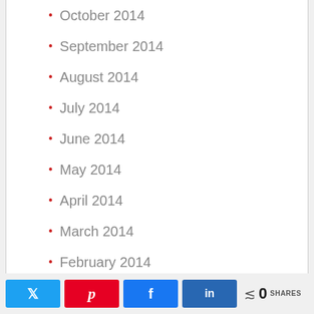October 2014
September 2014
August 2014
July 2014
June 2014
May 2014
April 2014
March 2014
February 2014
January 2014
December 2013